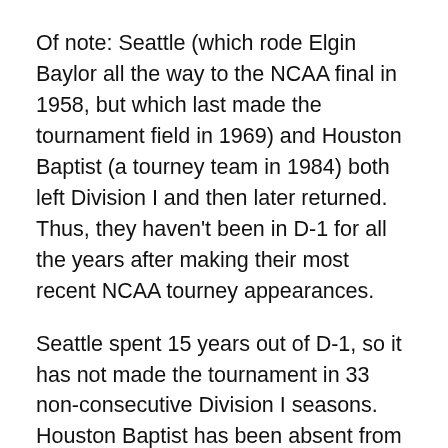Of note: Seattle (which rode Elgin Baylor all the way to the NCAA final in 1958, but which last made the tournament field in 1969) and Houston Baptist (a tourney team in 1984) both left Division I and then later returned. Thus, they haven't been in D-1 for all the years after making their most recent NCAA tourney appearances.
Seattle spent 15 years out of D-1, so it has not made the tournament in 33 non-consecutive Division I seasons. Houston Baptist has been absent from the NCAA tournament for 11 non-consecutive D-1 seasons.
—
A few notable trivia items from that list of teams:
Tennessee Tech's last NCAA trip was one to forget: a